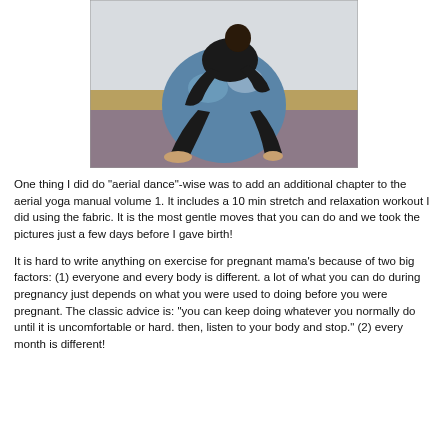[Figure (photo): A pregnant woman wearing black clothing sitting on a large blue exercise/stability ball in what appears to be a yoga or exercise studio with wooden floor and purple mat.]
One thing I did do "aerial dance"-wise was to add an additional chapter to the aerial yoga manual volume 1. It includes a 10 min stretch and relaxation workout I did using the fabric. It is the most gentle moves that you can do and we took the pictures just a few days before I gave birth!
It is hard to write anything on exercise for pregnant mama's because of two big factors: (1) everyone and every body is different. a lot of what you can do during pregnancy just depends on what you were used to doing before you were pregnant. The classic advice is: "you can keep doing whatever you normally do until it is uncomfortable or hard. then, listen to your body and stop." (2) every month is different!